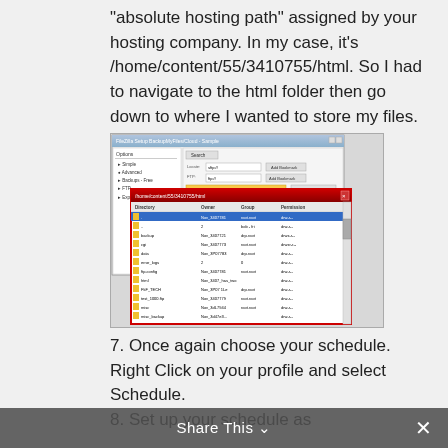"absolute hosting path" assigned by your hosting company. In my case, it's /home/content/55/3410755/html. So I had to navigate to the html folder then go down to where I wanted to store my files.
[Figure (screenshot): Screenshot of FTP setup dialog (FileZilla or similar FTP client) showing a connection window and a file browser window with /home/content listing of server directories.]
7. Once again choose your schedule. Right Click on your profile and select Schedule.
8. Set up your schedule as
Share This